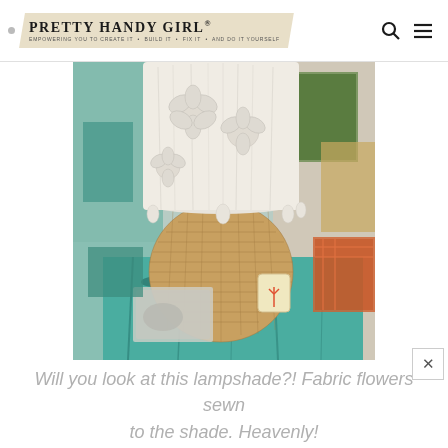PRETTY HANDY GIRL® — EMPOWERING YOU TO CREATE IT • BUILD IT • FIX IT • AND DO IT YOURSELF
[Figure (photo): A lamp with a wicker/rattan round base sitting on a distressed turquoise table. The lampshade is white fabric decorated with sewn fabric flowers. Various decorative items and candles are visible on the table and in the background of what appears to be a store or boutique setting.]
Will you look at this lampshade?! Fabric flowers sewn to the shade. Heavenly!